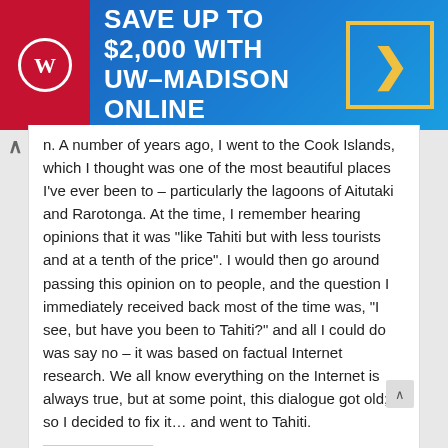[Figure (screenshot): UW-Madison Online advertisement banner with red block containing shield logo, blue gradient background, text 'SAVE UP TO $2,000 WITH UW-MADISON ONLINE', and yellow arrow box]
n. A number of years ago, I went to the Cook Islands, which I thought was one of the most beautiful places I've ever been to – particularly the lagoons of Aitutaki and Rarotonga. At the time, I remember hearing opinions that it was "like Tahiti but with less tourists and at a tenth of the price". I would then go around passing this opinion on to people, and the question I immediately received back most of the time was, "I see, but have you been to Tahiti?" and all I could do was say no – it was based on factual Internet research. We all know everything on the Internet is always true, but at some point, this dialogue got old; so I decided to fix it… and went to Tahiti.
Share this:
Reddit  Facebook  Email  Twitter